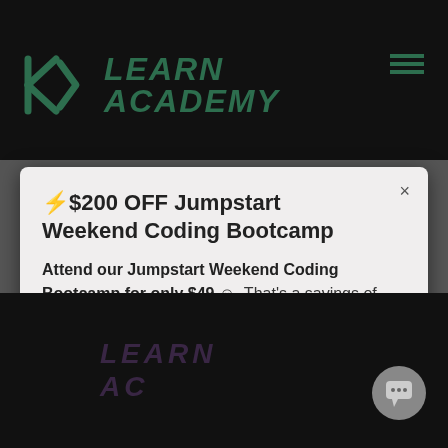[Figure (logo): Learn Academy logo with geometric KA symbol in dark green and text LEARN ACADEMY on dark background]
⚡$200 OFF Jumpstart Weekend Coding Bootcamp
Attend our Jumpstart Weekend Coding Bootcamp for only $49 ☺ That's a savings of $200! Crazy right? That's 20 hours of live coding training including HTML / CSS / & JS! 💻
CLAIM YOUR PROMO-CODE
[Figure (logo): Learn Academy watermark logo in purple at bottom of dark page]
[Figure (other): Chat support bubble icon in gray circle, bottom right]